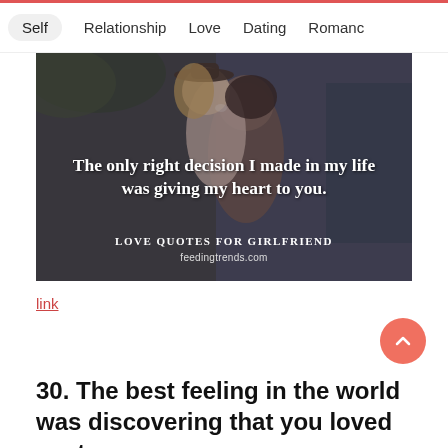Self  Relationship  Love  Dating  Romanc
[Figure (photo): Couple photo with a woman in a hat laughing on a man's back, overlaid with a love quote. Text reads: 'The only right decision I made in my life was giving my heart to you.' with watermark 'Love Quotes for Girlfriend' and 'feedingtrends.com']
link
30. The best feeling in the world was discovering that you loved me too.